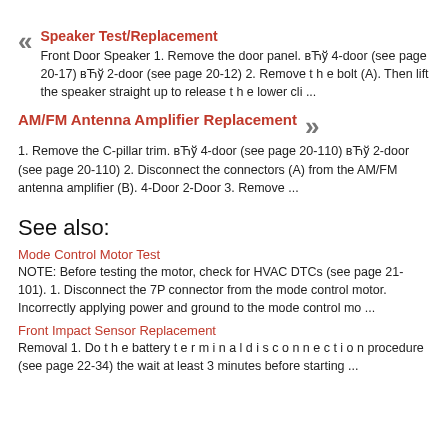Speaker Test/Replacement
Front Door Speaker 1. Remove the door panel. вЋў 4-door (see page 20-17) вЋў 2-door (see page 20-12) 2. Remove t h e bolt (A). Then lift the speaker straight up to release t h e lower cli ...
AM/FM Antenna Amplifier Replacement
1. Remove the C-pillar trim. вЋў 4-door (see page 20-110) вЋў 2-door (see page 20-110) 2. Disconnect the connectors (A) from the AM/FM antenna amplifier (B). 4-Door 2-Door 3. Remove ...
See also:
Mode Control Motor Test
NOTE: Before testing the motor, check for HVAC DTCs (see page 21-101). 1. Disconnect the 7P connector from the mode control motor. Incorrectly applying power and ground to the mode control mo ...
Front Impact Sensor Replacement
Removal 1. Do t h e battery t e r m i n a l d i s c o n n e c t i o n procedure (see page 22-34) the wait at least 3 minutes before starting ...